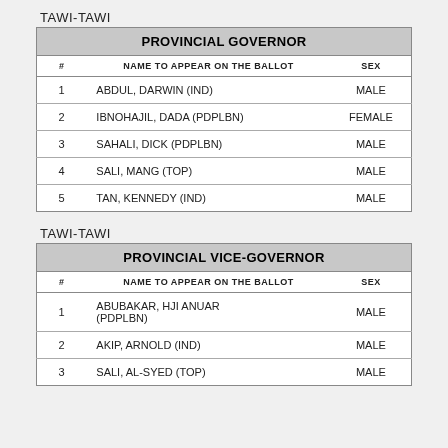TAWI-TAWI
| # | NAME TO APPEAR ON THE BALLOT | SEX |
| --- | --- | --- |
| 1 | ABDUL, DARWIN (IND) | MALE |
| 2 | IBNOHAJIL, DADA (PDPLBN) | FEMALE |
| 3 | SAHALI, DICK (PDPLBN) | MALE |
| 4 | SALI, MANG (TOP) | MALE |
| 5 | TAN, KENNEDY (IND) | MALE |
TAWI-TAWI
| # | NAME TO APPEAR ON THE BALLOT | SEX |
| --- | --- | --- |
| 1 | ABUBAKAR, HJI ANUAR (PDPLBN) | MALE |
| 2 | AKIP, ARNOLD (IND) | MALE |
| 3 | SALI, AL-SYED (TOP) | MALE |